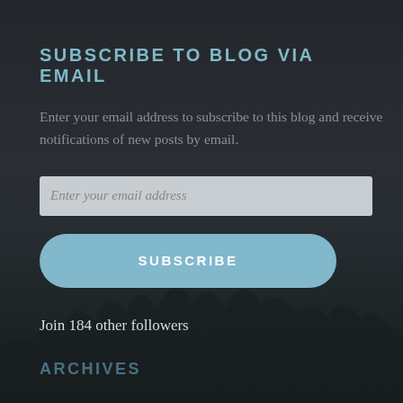SUBSCRIBE TO BLOG VIA EMAIL
Enter your email address to subscribe to this blog and receive notifications of new posts by email.
Enter your email address
SUBSCRIBE
Join 184 other followers
ARCHIVES